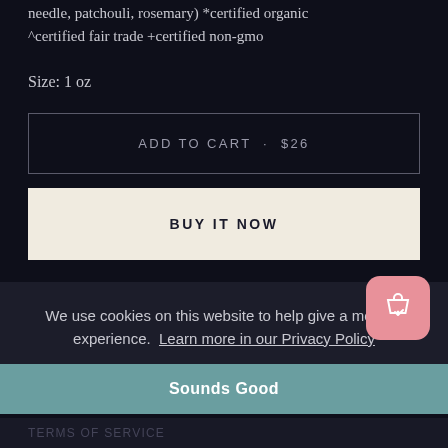needle, patchouli, rosemary) *certified organic ^certified fair trade +certified non-gmo
Size: 1 oz
ADD TO CART • $26
BUY IT NOW
We use cookies on this website to help give a modern experience.  Learn more in our Privacy Policy
Sounds Good
TERMS OF SERVICE